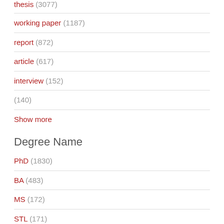thesis (3077)
working paper (1187)
report (872)
article (617)
interview (152)
(140)
Show more
Degree Name
PhD (1830)
BA (483)
MS (172)
STL (171)
BS (152)
EdD (117)
Show more
Degree Level
Doctoral (1975)